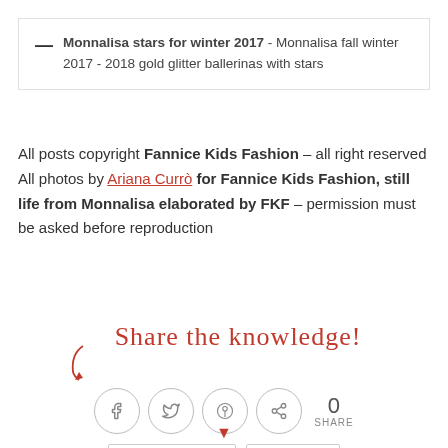Monnalisa stars for winter 2017 - Monnalisa fall winter 2017 - 2018 gold glitter ballerinas with stars
All posts copyright Fannice Kids Fashion – all right reserved
All photos by Ariana Currò for Fannice Kids Fashion, still life from Monnalisa elaborated by FKF – permission must be asked before reproduction
[Figure (infographic): Share the knowledge! handwritten text in red with a curved arrow pointing down, followed by social share buttons (Facebook, Twitter, Pinterest, share count showing 0 SHARE), and tag buttons for MONNALISA and STARS]